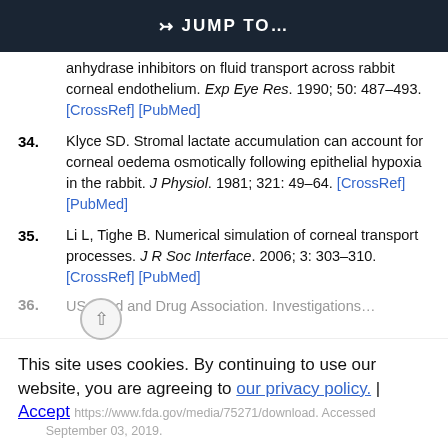JUMP TO...
anhydrase inhibitors on fluid transport across rabbit corneal endothelium. Exp Eye Res. 1990; 50: 487–493. [CrossRef] [PubMed]
34. Klyce SD. Stromal lactate accumulation can account for corneal oedema osmotically following epithelial hypoxia in the rabbit. J Physiol. 1981; 321: 49–64. [CrossRef] [PubMed]
35. Li L, Tighe B. Numerical simulation of corneal transport processes. J R Soc Interface. 2006; 3: 303–310. [CrossRef] [PubMed]
36. US Food and Drug Association. Investigations...
This site uses cookies. By continuing to use our website, you are agreeing to our privacy policy. | Accept https://www.fda.gov/media/75271/download. Accessed September 03, 2019.